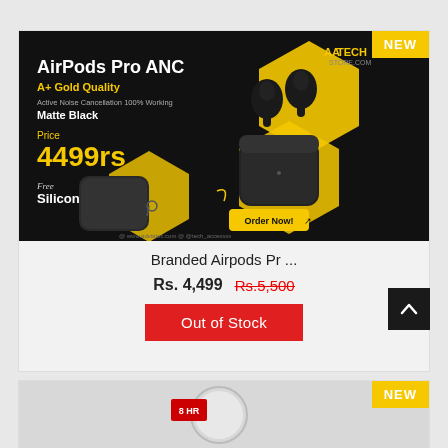[Figure (screenshot): Product listing page for Branded Airpods Pro ANC in Matte Black. Shows product ad image with price 4499rs, free silicon case. Current price Rs. 4,499, original price Rs.5,500 crossed out. Out of Stock button in red. NEW badge in yellow top right. Second product card partially visible at bottom with 8HR label.]
Branded Airpods Pr ...
Rs. 4,499  Rs.5,500
Out of Stock